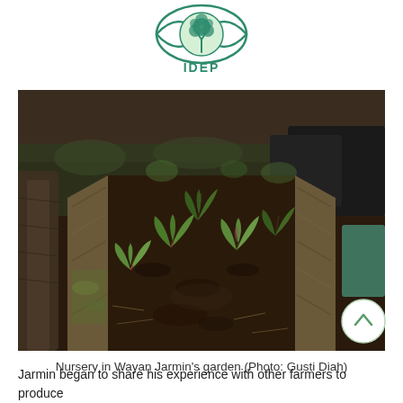[Figure (logo): IDEP Foundation logo — an eye shape containing a green tree, with 'IDEP' text below]
[Figure (photo): Close-up photograph of a nursery plant bed in Wayan Jarmin's garden. Small seedlings with green and reddish leaves grow in dark soil within a wooden frame made of split bamboo or logs. Shallow depth of field shows more seedlings in the background.]
Nursery in Wayan Jarmin's garden (Photo: Gusti Diah)
Jarmin began to share his experience with other farmers to produce